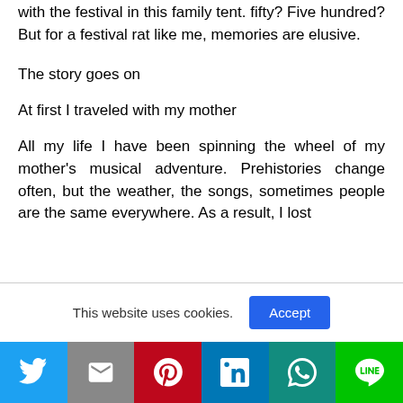with the festival in this family tent. fifty? Five hundred? But for a festival rat like me, memories are elusive.
The story goes on
At first I traveled with my mother
All my life I have been spinning the wheel of my mother's musical adventure. Prehistories change often, but the weather, the songs, sometimes people are the same everywhere. As a result, I lost
This website uses cookies.
Social share buttons: Twitter, Gmail, Pinterest, LinkedIn, WhatsApp, LINE